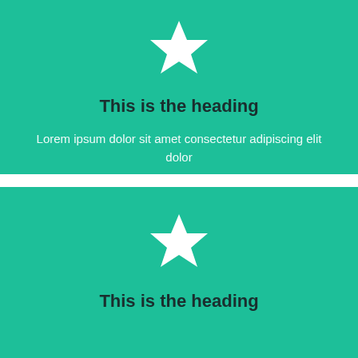[Figure (illustration): White star icon on teal background, top card]
This is the heading
Lorem ipsum dolor sit amet consectetur adipiscing elit dolor
[Figure (illustration): White star icon on teal background, bottom card]
This is the heading